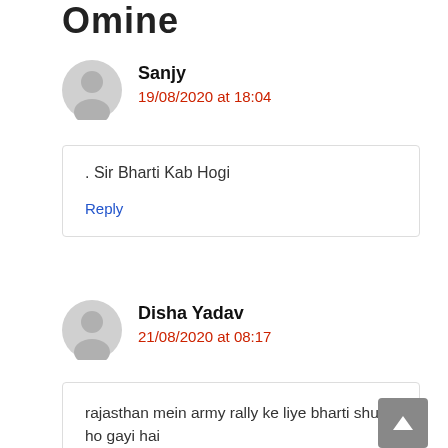Omine
Sanjy
19/08/2020 at 18:04
. Sir Bharti Kab Hogi
Reply
Disha Yadav
21/08/2020 at 08:17
rajasthan mein army rally ke liye bharti shuru ho gayi hai